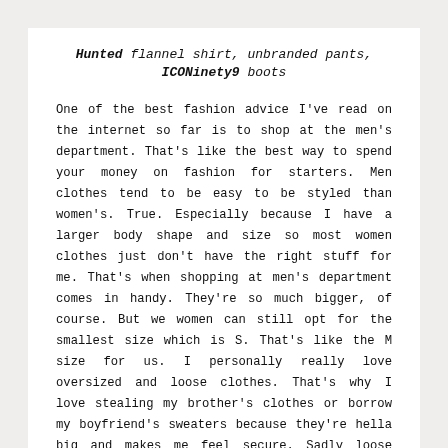Hunted flannel shirt, unbranded pants, ICONinety9 boots
One of the best fashion advice I've read on the internet so far is to shop at the men's department. That's like the best way to spend your money on fashion for starters. Men clothes tend to be easy to be styled than women's. True. Especially because I have a larger body shape and size so most women clothes just don't have the right stuff for me. That's when shopping at men's department comes in handy. They're so much bigger, of course. But we women can still opt for the smallest size which is S. That's like the M size for us. I personally really love oversized and loose clothes. That's why I love stealing my brother's clothes or borrow my boyfriend's sweaters because they're hella big and makes me feel secure. Sadly loose clothes make me look so much bigger than my actual size lmao. Doesn't matter tho, the most important thing in choosing and wearing clothes is to aim for our personal comfort. People's thoughts can follow.